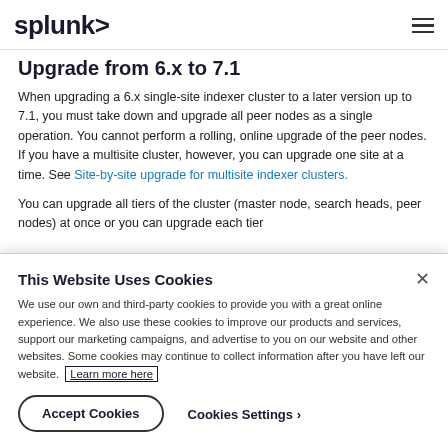splunk>
Upgrade from 6.x to 7.1
When upgrading a 6.x single-site indexer cluster to a later version up to 7.1, you must take down and upgrade all peer nodes as a single operation. You cannot perform a rolling, online upgrade of the peer nodes. If you have a multisite cluster, however, you can upgrade one site at a time. See Site-by-site upgrade for multisite indexer clusters.
You can upgrade all tiers of the cluster (master node, search heads, peer nodes) at once or you can upgrade each tier
This Website Uses Cookies
We use our own and third-party cookies to provide you with a great online experience. We also use these cookies to improve our products and services, support our marketing campaigns, and advertise to you on our website and other websites. Some cookies may continue to collect information after you have left our website. Learn more here
Accept Cookies
Cookies Settings ›